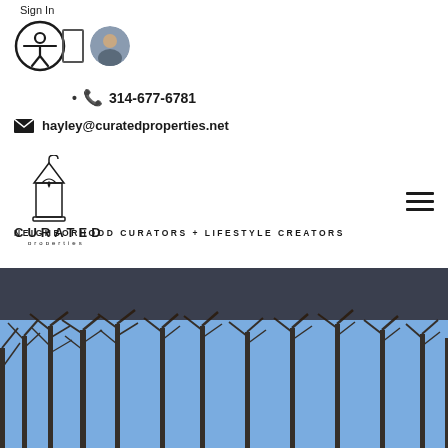Sign In
[Figure (logo): Accessibility icon (person in circle) with a small rectangular badge, followed by a circular agent avatar photo]
314-677-6781
hayley@curatedproperties.net
[Figure (logo): Curated Properties logo: lantern-style house icon above the word CURATED in spaced capitals and 'properties' in small letters below]
NEIGHBORHOOD CURATORS + LIFESTYLE CREATORS
[Figure (photo): Winter outdoor photo showing bare deciduous trees against a blue sky, dark header bar at top]